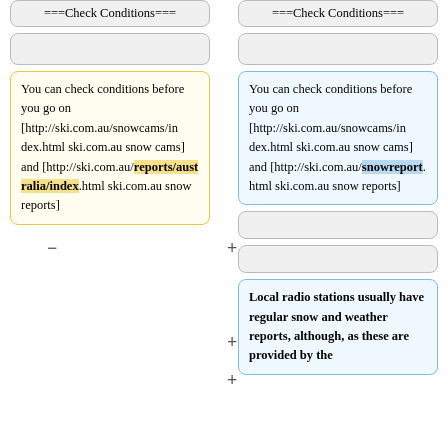===Check Conditions===
===Check Conditions===
You can check conditions before you go on [http://ski.com.au/snowcams/index.html ski.com.au snow cams] and [http://ski.com.au/reports/australia/index.html ski.com.au snow reports]
You can check conditions before you go on [http://ski.com.au/snowcams/index.html ski.com.au snow cams] and [http://ski.com.au/snowreport.html ski.com.au snow reports]
Local radio stations usually have regular snow and weather reports, although, as these are provided by the